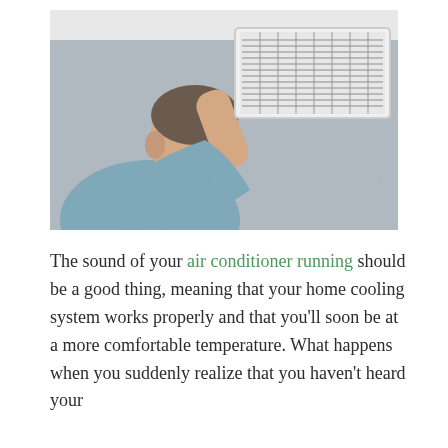[Figure (photo): A man leaning close to a white rectangular HVAC air vent register mounted high on a gray wall, appearing to listen to or inspect it. He is wearing a blue-gray t-shirt and is viewed from behind/side.]
The sound of your air conditioner running should be a good thing, meaning that your home cooling system works properly and that you'll soon be at a more comfortable temperature. What happens when you suddenly realize that you haven't heard your